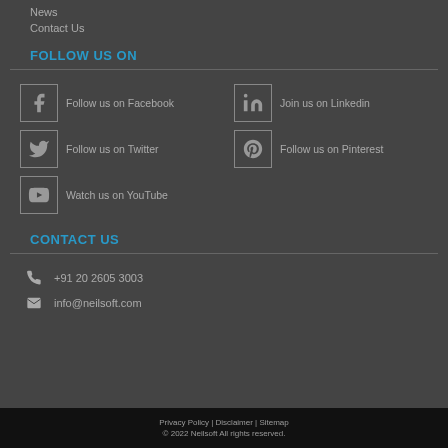News
Contact Us
FOLLOW US ON
Follow us on Facebook
Join us on Linkedin
Follow us on Twitter
Follow us on Pinterest
Watch us on YouTube
CONTACT US
+91 20 2605 3003
info@neilsoft.com
Privacy Policy | Disclaimer | Sitemap
© 2022 Neilsoft All rights reserved.